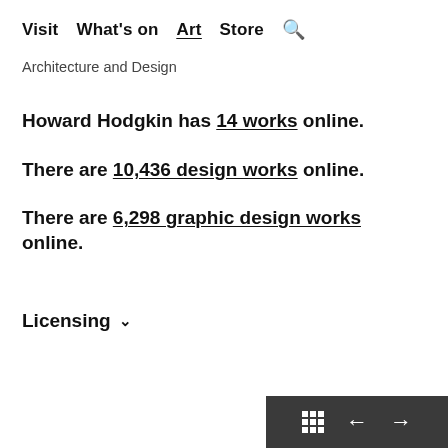Visit  What's on  Art  Store  🔍
Architecture and Design
Howard Hodgkin has 14 works online.
There are 10,436 design works online.
There are 6,298 graphic design works online.
Licensing ∨